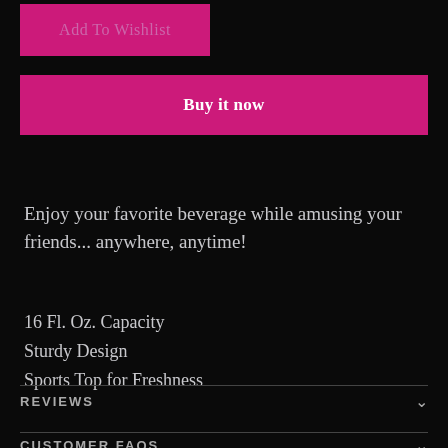Add To Wishlist
Buy it now
Enjoy your favorite beverage while amusing your friends... anywhere, anytime!
16 Fl. Oz. Capacity
Sturdy Design
Sports Top for Freshness
REVIEWS
CUSTOMER FAQS